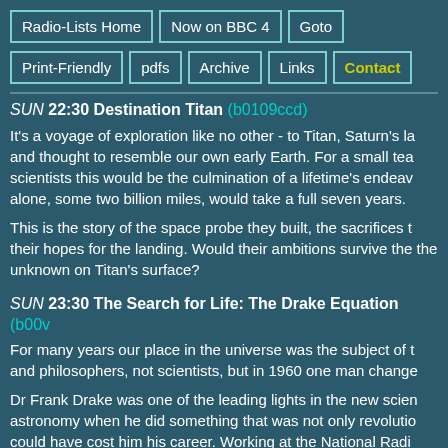Radio-Lists Home | Now on BBC 4 | Goto | Print-Friendly | pdfs | Archive | Links | Contact
SUN 22:30 Destination Titan (b0109ccd)
It's a voyage of exploration like no other - to Titan, Saturn's la and thought to resemble our own early Earth. For a small tea scientists this would be the culmination of a lifetime's endeav alone, some two billion miles, would take a full seven years.
This is the story of the space probe they built, the sacrifices t their hopes for the landing. Would their ambitions survive the the unknown on Titan's surface?
SUN 23:30 The Search for Life: The Drake Equation (b00v...
For many years our place in the universe was the subject of t and philosophers, not scientists, but in 1960 one man change
Dr Frank Drake was one of the leading lights in the new scien astronomy when he did something that was not only revolutio could have cost him his career. Working at the National Radi Observatory in Greenbank in Virginia, he pointed one of the